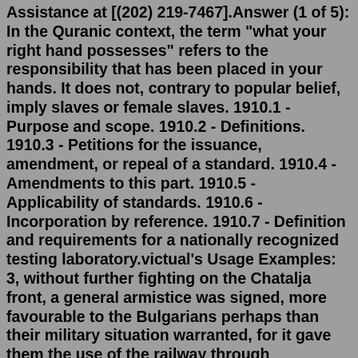Assistance at [(202) 219-7467].Answer (1 of 5): In the Quranic context, the term "what your right hand possesses" refers to the responsibility that has been placed in your hands. It does not, contrary to popular belief, imply slaves or female slaves. 1910.1 - Purpose and scope. 1910.2 - Definitions. 1910.3 - Petitions for the issuance, amendment, or repeal of a standard. 1910.4 - Amendments to this part. 1910.5 - Applicability of standards. 1910.6 - Incorporation by reference. 1910.7 - Definition and requirements for a nationally recognized testing laboratory.victual's Usage Examples: 3, without further fighting on the Chatalja front, a general armistice was signed, more favourable to the Bulgarians perhaps than their military situation warranted, for it gave them the use of the railway through Adrianople without allowing the Turks to revictual that place. General Election Manifesto. (July 1977) [The TULF that went to polls with this manifesto won an overwhelming majority of votes from the northern and eastern provinces of Sri Lanka (Tamil homelands) - considered as a mandate